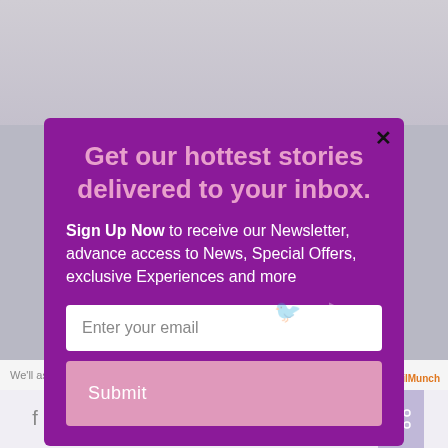[Figure (screenshot): Newsletter signup modal popup with purple background on a website page. Contains heading 'Get our hottest stories delivered to your inbox.', body text with Sign Up Now call to action, email input field, and Submit button. Page behind shows social sharing bar at bottom and cookie consent strip.]
Get our hottest stories delivered to your inbox.
Sign Up Now to receive our Newsletter, advance access to News, Special Offers, exclusive Experiences and more
Enter your email
Submit
We'll assume you're ok with this, but you can opt-out if
powered by MailMunch